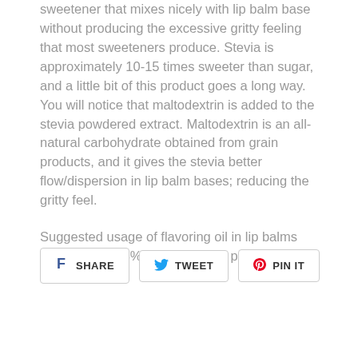sweetener that mixes nicely with lip balm base without producing the excessive gritty feeling that most sweeteners produce. Stevia is approximately 10-15 times sweeter than sugar, and a little bit of this product goes a long way. You will notice that maltodextrin is added to the stevia powdered extract. Maltodextrin is an all-natural carbohydrate obtained from grain products, and it gives the stevia better flow/dispersion in lip balm bases; reducing the gritty feel.
Suggested usage of flavoring oil in lip balms range from .4-4% in the finished product.
[Figure (other): Social sharing buttons: Share (Facebook), Tweet (Twitter), Pin It (Pinterest)]